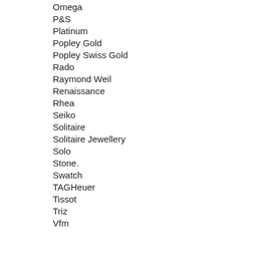Omega
P&S
Platinum
Popley Gold
Popley Swiss Gold
Rado
Raymond Weil
Renaissance
Rhea
Seiko
Solitaire
Solitaire Jewellery
Solo
Stone.
Swatch
TAGHeuer
Tissot
Triz
Vfm